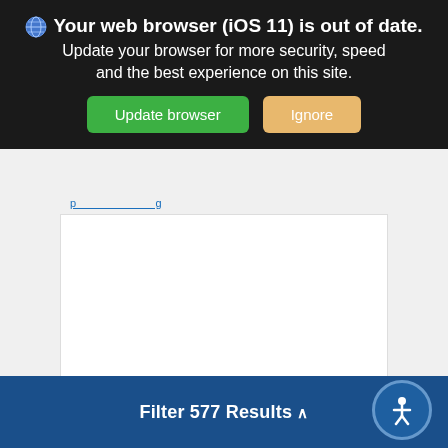[Figure (screenshot): Browser compatibility warning banner with dark background showing 'Your web browser (iOS 11) is out of date.' message with Update browser (green) and Ignore (tan) buttons.]
[Figure (screenshot): White content card showing vehicle listing with Silver Ice Metallic exterior color swatch and Black interior color swatch at the bottom.]
Filter 577 Results